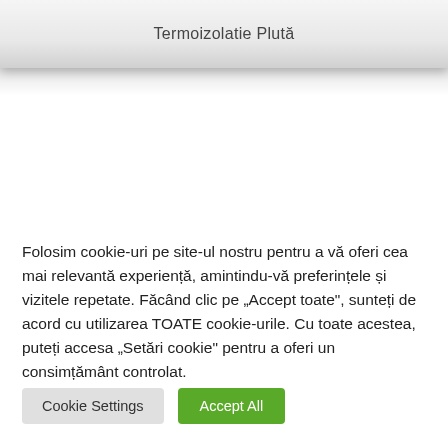Termoizolatie Plutå
Folosim cookie-uri pe site-ul nostru pentru a vă oferi cea mai relevantă experiență, amintindu-vă preferințele și vizitele repetate. Făcând clic pe „Accept toate", sunteți de acord cu utilizarea TOATE cookie-urile. Cu toate acestea, puteți accesa „Setări cookie" pentru a oferi un consimțământ controlat.
Cookie Settings
Accept All